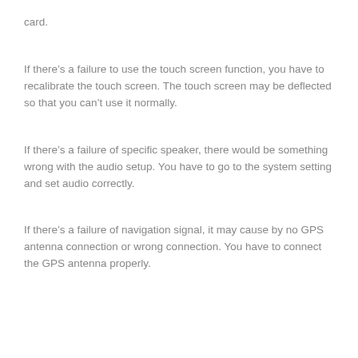card.
If there’s a failure to use the touch screen function, you have to recalibrate the touch screen. The touch screen may be deflected so that you can’t use it normally.
If there’s a failure of specific speaker, there would be something wrong with the audio setup. You have to go to the system setting and set audio correctly.
If there’s a failure of navigation signal, it may cause by no GPS antenna connection or wrong connection. You have to connect the GPS antenna properly.